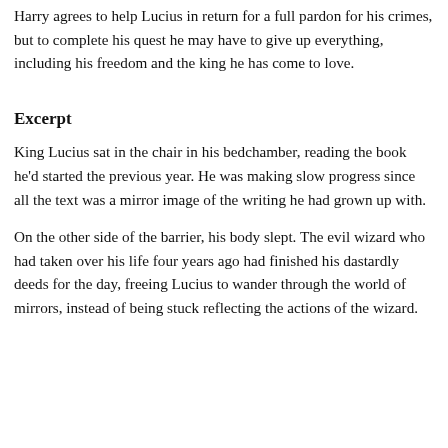Harry agrees to help Lucius in return for a full pardon for his crimes, but to complete his quest he may have to give up everything, including his freedom and the king he has come to love.
Excerpt
King Lucius sat in the chair in his bedchamber, reading the book he'd started the previous year. He was making slow progress since all the text was a mirror image of the writing he had grown up with.
On the other side of the barrier, his body slept. The evil wizard who had taken over his life four years ago had finished his dastardly deeds for the day, freeing Lucius to wander through the world of mirrors, instead of being stuck reflecting the actions of the wizard.